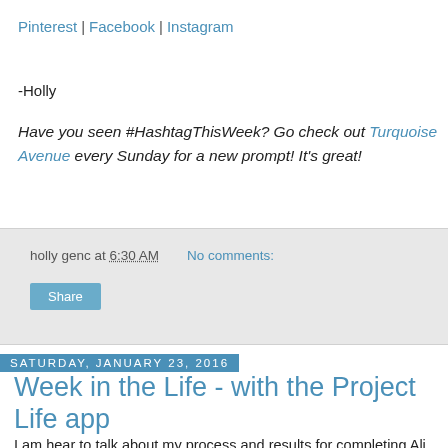Pinterest | Facebook | Instagram
-Holly
Have you seen #HashtagThisWeek? Go check out Turquoise Avenue every Sunday for a new prompt! It's great!
holly genc at 6:30 AM    No comments:
Share
Saturday, January 23, 2016
Week in the Life - with the Project Life app
I am hear to talk about my process and results for completing Ali Edward's Week In the Life.  Here is is a blog post that explains more about it Ali's ideas for this yearly